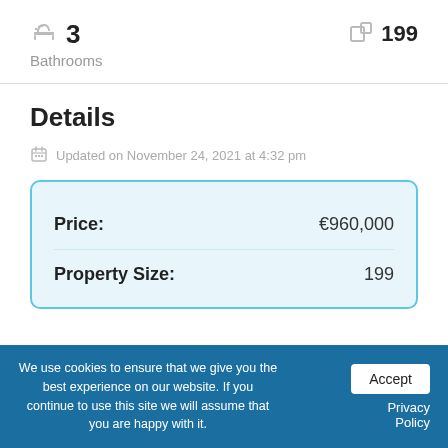3 Bathrooms
199
Details
Updated on November 24, 2021 at 4:32 pm
| Field | Value |
| --- | --- |
| Price: | €960,000 |
| Property Size: | 199 |
We use cookies to ensure that we give you the best experience on our website. If you continue to use this site we will assume that you are happy with it.
Accept
Privacy Policy